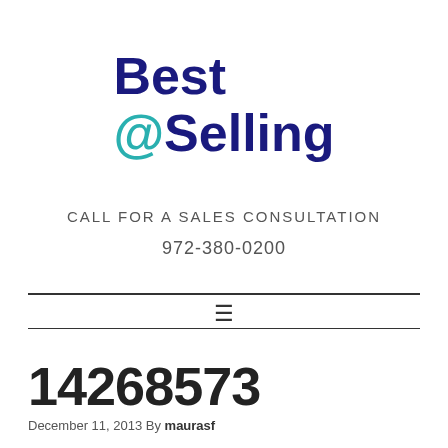[Figure (logo): Best @Selling logo — 'Best' in dark navy bold, '@Selling' with '@' in teal and 'Selling' in dark navy bold]
CALL FOR A SALES CONSULTATION
972-380-0200
14268573
December 11, 2013 By maurasf